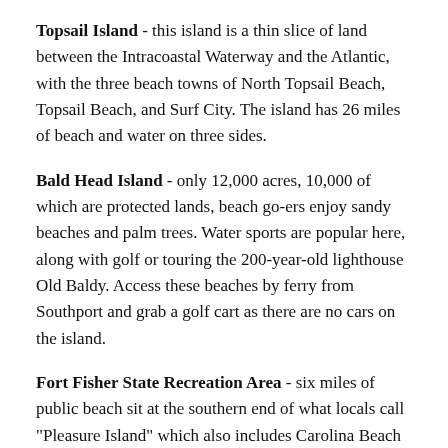Topsail Island - this island is a thin slice of land between the Intracoastal Waterway and the Atlantic, with the three beach towns of North Topsail Beach, Topsail Beach, and Surf City. The island has 26 miles of beach and water on three sides.
Bald Head Island - only 12,000 acres, 10,000 of which are protected lands, beach go-ers enjoy sandy beaches and palm trees. Water sports are popular here, along with golf or touring the 200-year-old lighthouse Old Baldy. Access these beaches by ferry from Southport and grab a golf cart as there are no cars on the island.
Fort Fisher State Recreation Area - six miles of public beach sit at the southern end of what locals call "Pleasure Island" which also includes Carolina Beach and Kure Beach. In addition to a large public parking lot, beach access points, and four-wheel-drive vehicle